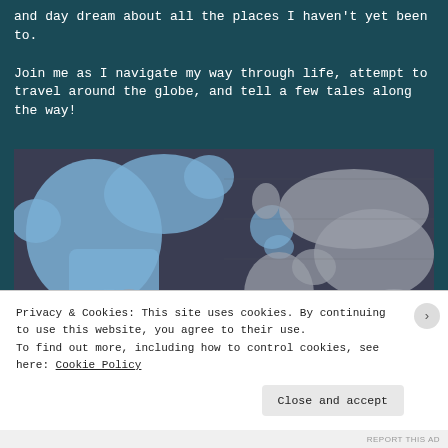and day dream about all the places I haven't yet been to.

Join me as I navigate my way through life, attempt to travel around the globe, and tell a few tales along the way!
[Figure (map): World map with North America and parts of Europe highlighted in blue/light blue, rest of world in grey, on a dark blue-grey background]
Privacy & Cookies: This site uses cookies. By continuing to use this website, you agree to their use.
To find out more, including how to control cookies, see here: Cookie Policy
Close and accept